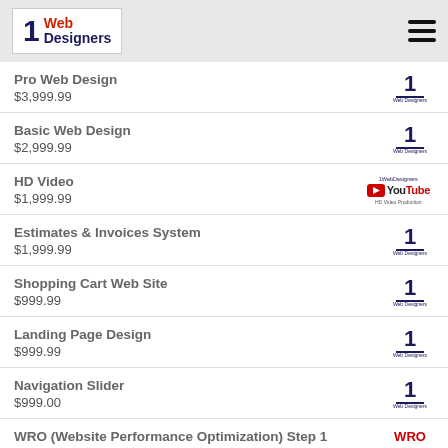1 Web Designers
Pro Web Design
$3,999.99
Basic Web Design
$2,999.99
HD Video
$1,999.99
Estimates & Invoices System
$1,999.99
Shopping Cart Web Site
$999.99
Landing Page Design
$999.99
Navigation Slider
$999.00
WRO (Website Performance Optimization) Step 1